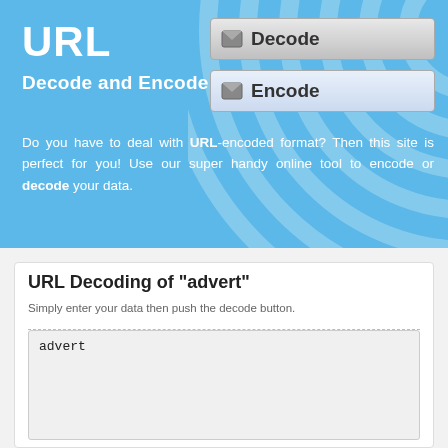URL
Decode and Encode
Decode
Encode
Do you have to deal with URL-encoded format? Then this site is perfect for you! Use our super handy online tool to encode or decode your data.
URL Decoding of "advert"
Simply enter your data then push the decode button.
advert